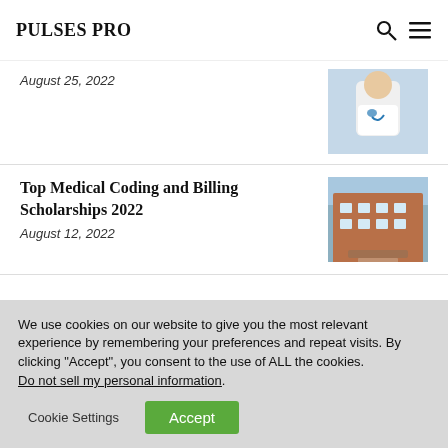PULSES PRO
August 25, 2022
[Figure (photo): Doctor in white coat with stethoscope sitting at desk]
Top Medical Coding and Billing Scholarships 2022
August 12, 2022
[Figure (photo): Exterior of a large brick hospital or medical building]
We use cookies on our website to give you the most relevant experience by remembering your preferences and repeat visits. By clicking “Accept”, you consent to the use of ALL the cookies. Do not sell my personal information.